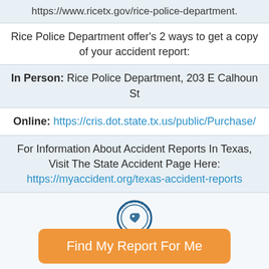https://www.ricetx.gov/rice-police-department.
Rice Police Department offer's 2 ways to get a copy of your accident report:
In Person: Rice Police Department, 203 E Calhoun St
Online: https://cris.dot.state.tx.us/public/Purchase/
For Information About Accident Reports In Texas, Visit The State Accident Page Here: https://myaccident.org/texas-accident-reports
[Figure (logo): TDLR APPROVED circular badge/seal logo in blue and white]
Find My Report For Me
Rice Police Department approved online defensive